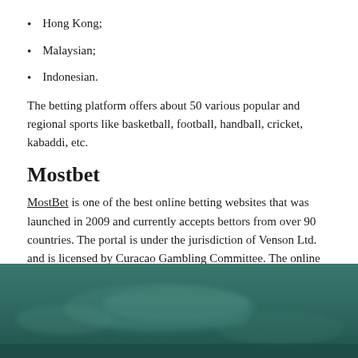Hong Kong;
Malaysian;
Indonesian.
The betting platform offers about 50 various popular and regional sports like basketball, football, handball, cricket, kabaddi, etc.
Mostbet
MostBet is one of the best online betting websites that was launched in 2009 and currently accepts bettors from over 90 countries. The portal is under the jurisdiction of Venson Ltd. and is licensed by Curacao Gambling Committee. The online bookmaker is easy to use for both beginners and experienced bettors.
[Figure (photo): Dark teal/green underwater or murky water scene photo at the bottom of the page]